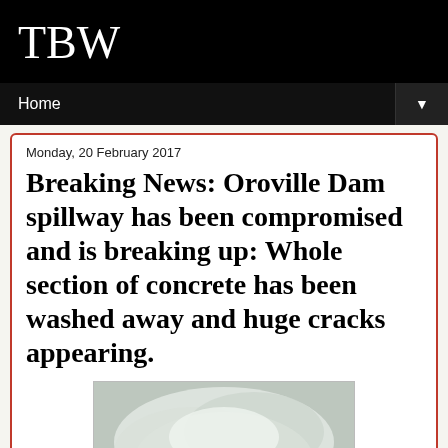TBW
Home
Monday, 20 February 2017
Breaking News: Oroville Dam spillway has been compromised and is breaking up: Whole section of concrete has been washed away and huge cracks appearing.
[Figure (photo): Photograph of the Oroville Dam spillway showing mist, water spray, rocks and trees in a dramatic scene.]